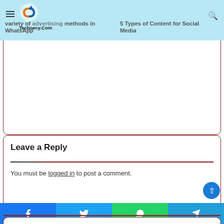Technecy.Com navigation bar
variety of advertising methods in WhatsApp
5 Types of Content for Social Media
May 11, 2022
Leave a Reply
You must be logged in to post a comment.
Recent Posts
Internet Gambling Laws – US, UK and the World
Share buttons: Facebook, Twitter, WhatsApp, Telegram